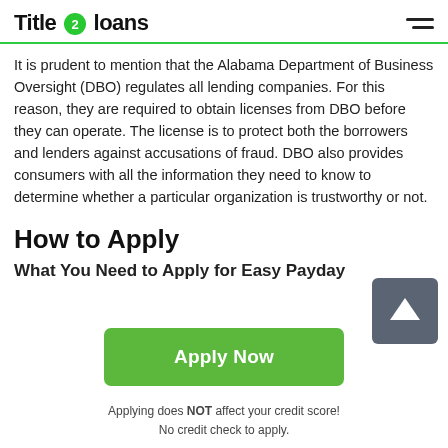Title 2 loans
It is prudent to mention that the Alabama Department of Business Oversight (DBO) regulates all lending companies. For this reason, they are required to obtain licenses from DBO before they can operate. The license is to protect both the borrowers and lenders against accusations of fraud. DBO also provides consumers with all the information they need to know to determine whether a particular organization is trustworthy or not.
How to Apply
What You Need to Apply for Easy Payday
[Figure (other): Green Apply Now button]
Applying does NOT affect your credit score!
No credit check to apply.